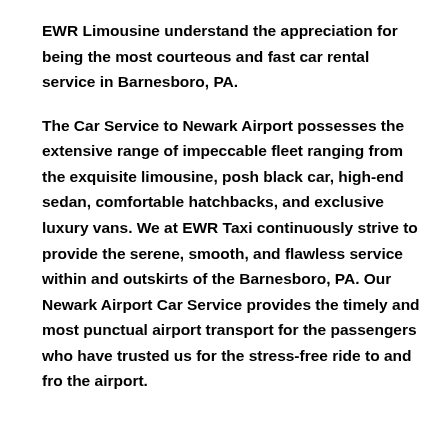EWR Limousine understand the appreciation for being the most courteous and fast car rental service in Barnesboro, PA.
The Car Service to Newark Airport possesses the extensive range of impeccable fleet ranging from the exquisite limousine, posh black car, high-end sedan, comfortable hatchbacks, and exclusive luxury vans. We at EWR Taxi continuously strive to provide the serene, smooth, and flawless service within and outskirts of the Barnesboro, PA. Our Newark Airport Car Service provides the timely and most punctual airport transport for the passengers who have trusted us for the stress-free ride to and fro the airport.